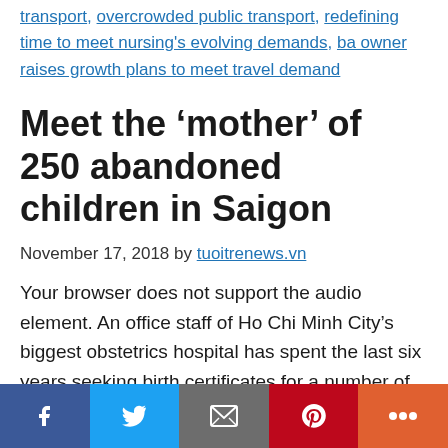transport, overcrowded public transport, redefining time to meet nursing's evolving demands, ba owner raises growth plans to meet travel demand
Meet the ‘mother’ of 250 abandoned children in Saigon
November 17, 2018 by tuoitrenews.vn
Your browser does not support the audio element. An office staff of Ho Chi Minh City’s biggest obstetrics hospital has spent the last six years seeking birth certificates for a number of children abandoned at the infirmary, and is always willing to
Social share buttons: Facebook, Twitter, Email, Pinterest, More